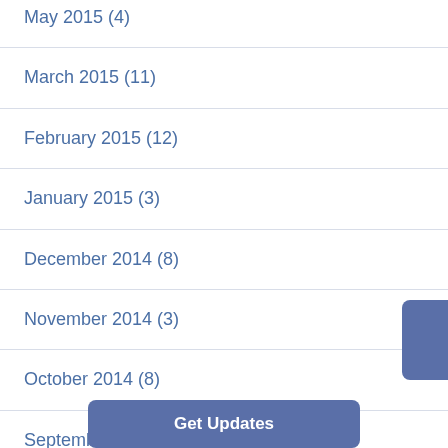May 2015 (4)
March 2015 (11)
February 2015 (12)
January 2015 (3)
December 2014 (8)
November 2014 (3)
October 2014 (8)
September 2014 (3)
August 2014 (7)
July 2014 (5)